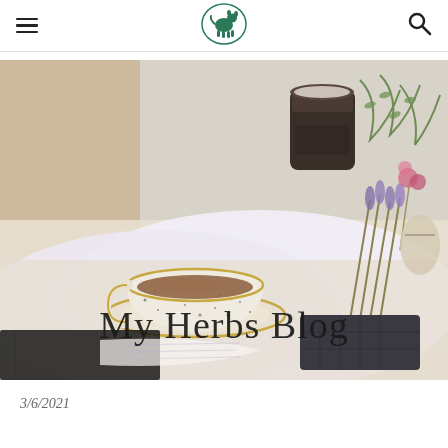My Herbs Blog - navigation bar with hamburger menu, logo, and search icon
[Figure (photo): Overhead/flat-lay lifestyle photo showing a speckled white ceramic teacup with gold rim on a saucer containing a brown herbal tea, placed on an open book/magazine. Surrounding items include a dark amber glass jar (candle), dried lavender bundles tied with string, pink dried flowers, green herbs/rosemary sprigs, a dark rectangular chocolate bar mold, and scattered herbs on a white table surface. Warm, soft natural lighting. Text overlay reads 'My Herbs Blog' in serif font.]
3/6/2021